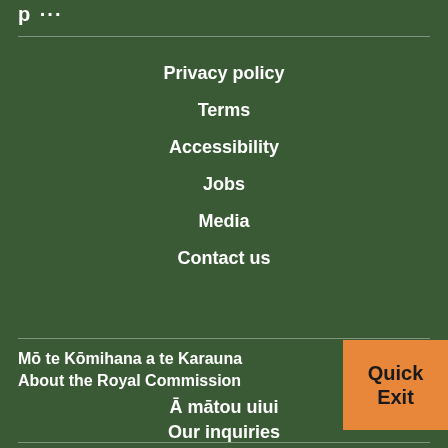p ···
Privacy policy
Terms
Accessibility
Jobs
Media
Contact us
Mō te Kōmihana a te Karauna
About the Royal Commission
Quick Exit
Ā mātou uiui
Our inquiries